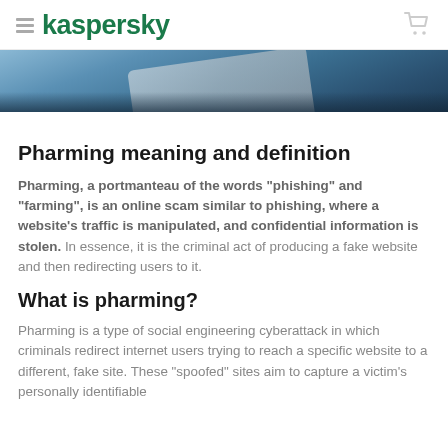kaspersky
[Figure (photo): Partial view of a credit card or keyboard on a dark blue surface, cropped at top]
Pharming meaning and definition
Pharming, a portmanteau of the words "phishing" and "farming", is an online scam similar to phishing, where a website's traffic is manipulated, and confidential information is stolen. In essence, it is the criminal act of producing a fake website and then redirecting users to it.
What is pharming?
Pharming is a type of social engineering cyberattack in which criminals redirect internet users trying to reach a specific website to a different, fake site. These "spoofed" sites aim to capture a victim's personally identifiable